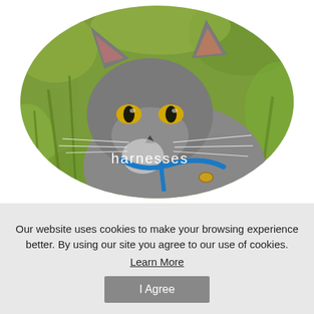[Figure (photo): Gray cat with yellow eyes wearing a blue harness, sitting outdoors among green plants. The photo is displayed in an oval/ellipse crop. The word 'harnesses' is overlaid in white text near the center-bottom of the image.]
Our website uses cookies to make your browsing experience better. By using our site you agree to our use of cookies.
Learn More
I Agree